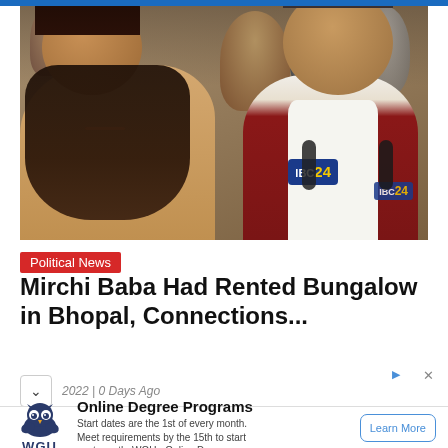[Figure (photo): Two men facing the camera with microphones in front of them. On the left, a shirtless man with long grey beard and a red bindi on his forehead (Mirchi Baba). On the right, an older man in white shirt and maroon vest (politician Kamal Nath). Crowd visible in background. IBC24 microphone visible.]
Political News
Mirchi Baba Had Rented Bungalow in Bhopal, Connections...
2022 | 0 Days Ago
Online Degree Programs
Start dates are the 1st of every month. Meet requirements by the 15th to start next month. WGU - Online Degrees
Learn More